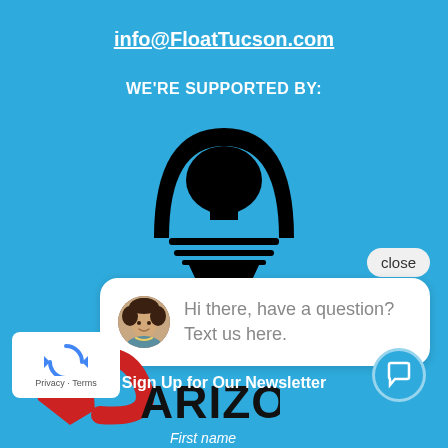info@FloatTucson.com
WE'RE SUPPORTED BY:
[Figure (logo): Float Tank Association logo - silhouette of person floating inside a light bulb shape with horizontal lines, black on blue background]
[Figure (screenshot): Chat widget popup showing close button and message bubble with avatar photo of a woman and text: Hi there, have a question? Text us here.]
[Figure (logo): Arizona SBDC logo - red Arizona state outline shape with curved red swoosh and ARIZONA text in large black letters]
[Figure (logo): Google reCAPTCHA badge - white box with recycling-style arrow icon and Privacy - Terms text]
Sign Up for Our Newsletter
First name